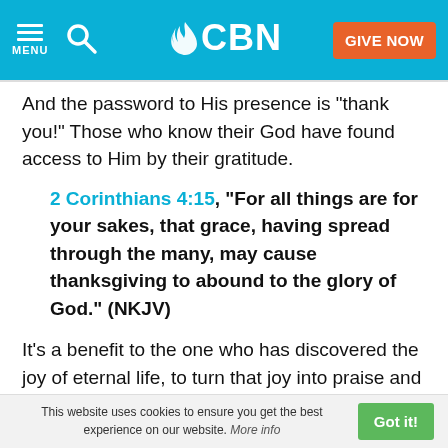CBN | MENU | GIVE NOW
And the password to His presence is "thank you!" Those who know their God have found access to Him by their gratitude.
2 Corinthians 4:15, "For all things are for your sakes, that grace, having spread through the many, may cause thanksgiving to abound to the glory of God." (NKJV)
It's a benefit to the one who has discovered the joy of eternal life, to turn that joy into praise and thanksgiving. The result is more people receiving the gift of salvation through our praise because it draws attention to the One
This website uses cookies to ensure you get the best experience on our website. More info | Got it!